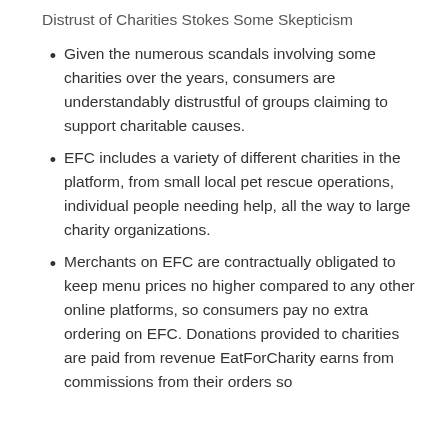Distrust of Charities Stokes Some Skepticism
Given the numerous scandals involving some charities over the years, consumers are understandably distrustful of groups claiming to support charitable causes.
EFC includes a variety of different charities in the platform, from small local pet rescue operations, individual people needing help, all the way to large charity organizations.
Merchants on EFC are contractually obligated to keep menu prices no higher compared to any other online platforms, so consumers pay no extra ordering on EFC. Donations provided to charities are paid from revenue EatForCharity earns from commissions from their orders so